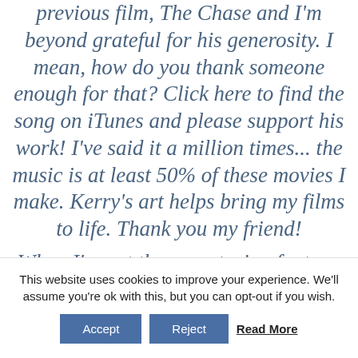previous film, The Chase and I'm beyond grateful for his generosity. I mean, how do you thank someone enough for that? Click here to find the song on iTunes and please support his work! I've said it a million times... the music is at least 50% of these movies I make. Kerry's art helps bring my films to life. Thank you my friend!
When I'm out there capturing footage for these films, I'm
This website uses cookies to improve your experience. We'll assume you're ok with this, but you can opt-out if you wish.